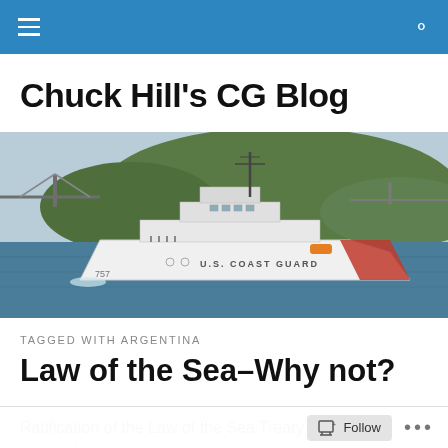Chuck Hill's CG Blog — site navigation header with menu and search icons
Chuck Hill's CG Blog
[Figure (photo): A U.S. Coast Guard white cutter ship sailing on calm water with a green tree-covered island and a bridge in the background. The words 'U.S. COAST GUARD' are visible on the hull with a red diagonal stripe.]
TAGGED WITH ARGENTINA
Law of the Sea–Why not?
Ratification of the Law of the Sea Treaty always seemed
Follow